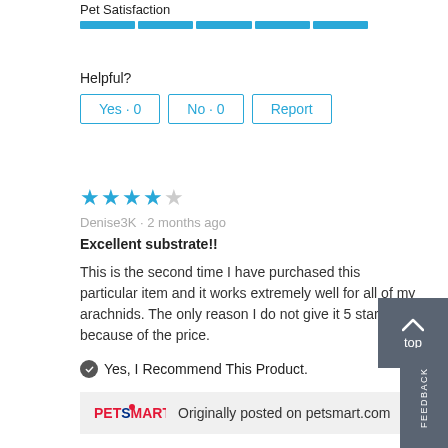Pet Satisfaction
[Figure (other): Horizontal progress/rating bar made of 5 blue segments]
Helpful?
Yes · 0   No · 0   Report
[Figure (other): 4 out of 5 blue stars rating]
Denise3K · 2 months ago
Excellent substrate!!
This is the second time I have purchased this particular item and it works extremely well for all of my arachnids. The only reason I do not give it 5 stars is because of the price.
Yes, I Recommend This Product.
Originally posted on petsmart.com